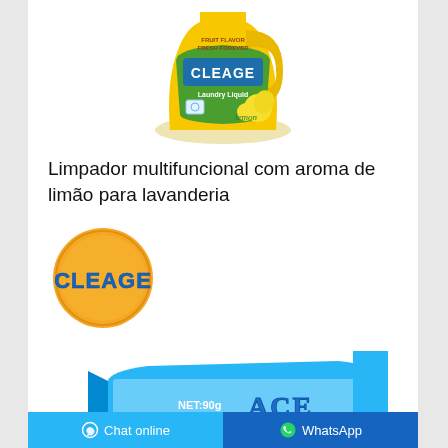[Figure (photo): Yellow CLEAGE Laundry Liquid bottle with lemon graphics and green background elements]
Limpador multifuncional com aroma de limão para lavanderia
[Figure (logo): CLEAGE brand logo: orange circular badge with blue CLEAGE text]
[Figure (photo): CLEAGE soap bar in blue packaging, NET:90g]
Chat online   WhatsApp